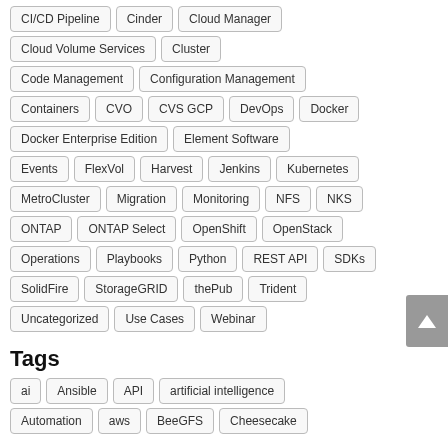CI/CD Pipeline, Cinder, Cloud Manager, Cloud Volume Services, Cluster, Code Management, Configuration Management, Containers, CVO, CVS GCP, DevOps, Docker, Docker Enterprise Edition, Element Software, Events, FlexVol, Harvest, Jenkins, Kubernetes, MetroCluster, Migration, Monitoring, NFS, NKS, ONTAP, ONTAP Select, OpenShift, OpenStack, Operations, Playbooks, Python, REST API, SDKs, SolidFire, StorageGRID, thePub, Trident, Uncategorized, Use Cases, Webinar
Tags
ai, Ansible, API, artificial intelligence, Automation, aws, BeeGFS, Cheesecake